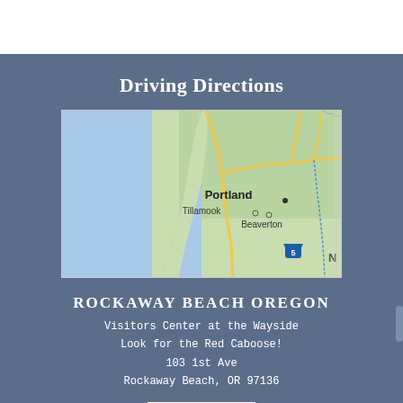Driving Directions
[Figure (map): Map showing the Oregon coast area including Tillamook, Portland, Beaverton, and surrounding region with highway routes and the Pacific Ocean on the left.]
ROCKAWAY BEACH OREGON
Visitors Center at the Wayside
Look for the Red Caboose!
103 1st Ave
Rockaway Beach, OR 97136
(503) 355-2291